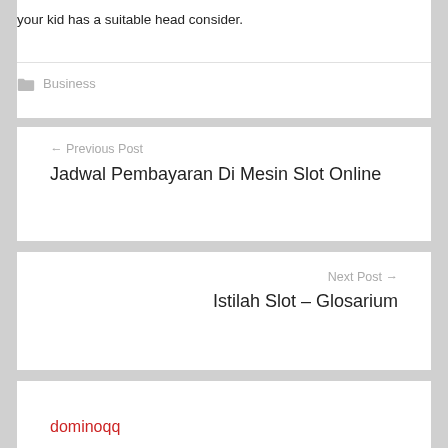your kid has a suitable head consider.
Business
← Previous Post
Jadwal Pembayaran Di Mesin Slot Online
Next Post →
Istilah Slot – Glosarium
dominoqq